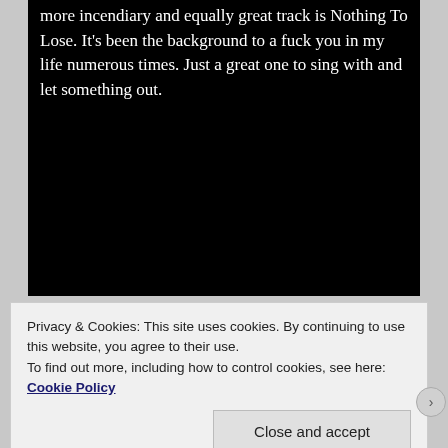more incendiary and equally great track is Nothing To Lose. It's been the background to a fuck you in my life numerous times. Just a great one to sing with and let something out.
[Figure (other): Black rectangular area occupying most of the lower portion of the content box]
Privacy & Cookies: This site uses cookies. By continuing to use this website, you agree to their use.
To find out more, including how to control cookies, see here: Cookie Policy
Close and accept